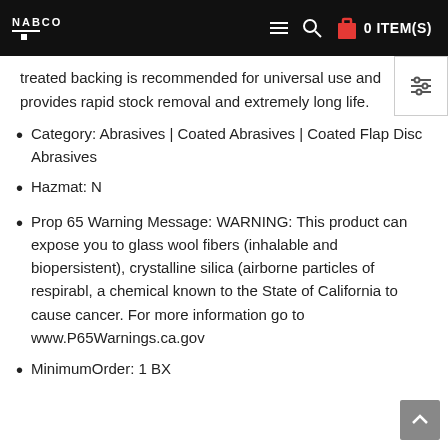NABCO | 0 ITEM(S)
treated backing is recommended for universal use and provides rapid stock removal and extremely long life.
Category: Abrasives | Coated Abrasives | Coated Flap Disc Abrasives
Hazmat: N
Prop 65 Warning Message: WARNING: This product can expose you to glass wool fibers (inhalable and biopersistent), crystalline silica (airborne particles of respirabl, a chemical known to the State of California to cause cancer. For more information go to www.P65Warnings.ca.gov
MinimumOrder: 1 BX